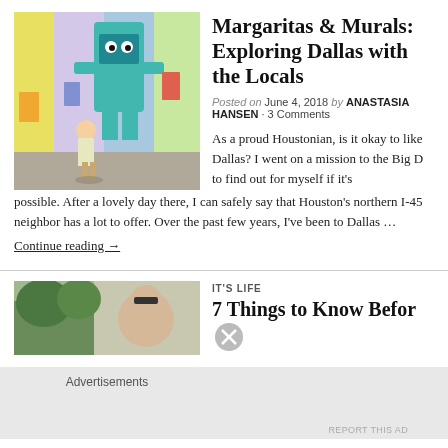[Figure (photo): Woman standing in front of colorful mural street art with cartoon-like characters in bright colors]
Margaritas & Murals: Exploring Dallas with the Locals
Posted on June 4, 2018 by ANASTASIA HANSEN · 3 Comments
As a proud Houstonian, is it okay to like Dallas? I went on a mission to the Big D to find out for myself if it's possible. After a lovely day there, I can safely say that Houston's northern I-45 neighbor has a lot to offer. Over the past few years, I've been to Dallas …
Continue reading →
[Figure (photo): Partial photo showing a person outdoors with trees in background]
IT'S LIFE
7 Things to Know Befor
Advertisements
REPORT THIS AD